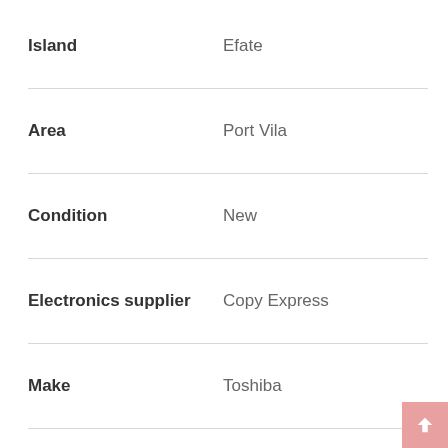| Field | Value |
| --- | --- |
| Island | Efate |
| Area | Port Vila |
| Condition | New |
| Electronics supplier | Copy Express |
| Make | Toshiba |
| Model | e.studio408P |